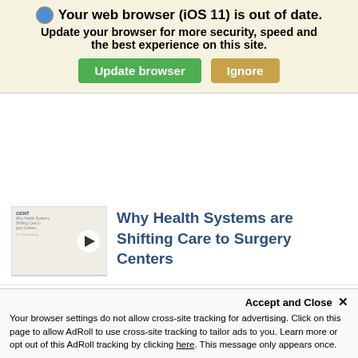[Figure (screenshot): Browser update warning banner with blue icon, bold title 'Your web browser (iOS 11) is out of date.', subtitle 'Update your browser for more security, speed and the best experience on this site.', and two buttons: 'Update browser' (green) and 'Ignore' (tan/gold).]
Why Health Systems are Shifting Care to Surgery Centers
Becker's Healthcare Podcast: ASC Trends & Insights
Choose an ASC Partner That Adapts
Accept and Close ✕
Your browser settings do not allow cross-site tracking for advertising. Click on this page to allow AdRoll to use cross-site tracking to tailor ads to you. Learn more or opt out of this AdRoll tracking by clicking here. This message only appears once.